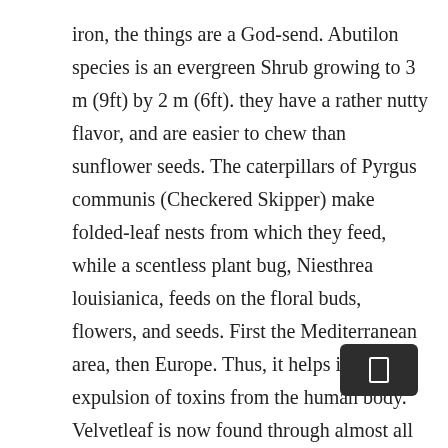iron, the things are a God-send. Abutilon species is an evergreen Shrub growing to 3 m (9ft) by 2 m (6ft). they have a rather nutty flavor, and are easier to chew than sunflower seeds. The caterpillars of Pyrgus communis (Checkered Skipper) make folded-leaf nests from which they feed, while a scentless plant bug, Niesthrea louisianica, feeds on the floral buds, flowers, and seeds. First the Mediterranean area, then Europe. Thus, it helps in proper expulsion of toxins from the human body. Velvetleaf is now found through almost all of North America, except for the extreme north (see map). I see this all along the edges of corn and soybean fields and pretty much anywhere the soil gets disturbed. In the